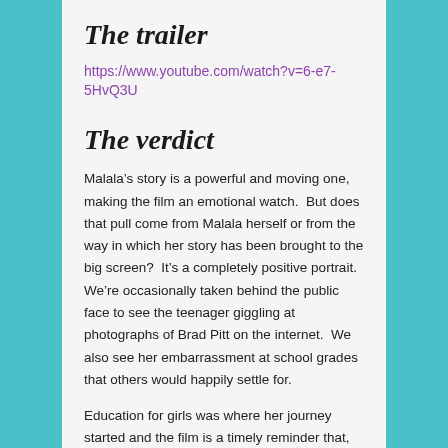The trailer
https://www.youtube.com/watch?v=6-e7-5HvQ3U
The verdict
Malala’s story is a powerful and moving one, making the film an emotional watch.  But does that pull come from Malala herself or from the way in which her story has been brought to the big screen?  It’s a completely positive portrait.  We’re occasionally taken behind the public face to see the teenager giggling at photographs of Brad Pitt on the internet.  We also see her embarrassment at school grades that others would happily settle for.
Education for girls was where her journey started and the film is a timely reminder that, while girls in the West are going to school as a matter of course and women are campaigning for more equality, girls and women in other